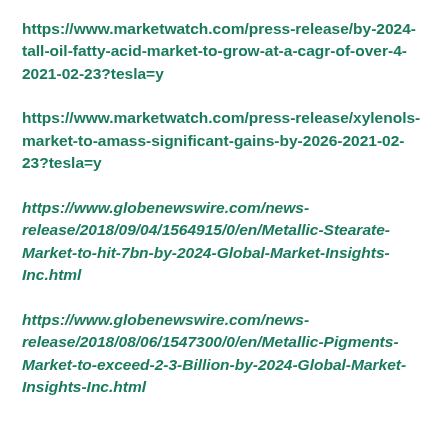https://www.marketwatch.com/press-release/by-2024-tall-oil-fatty-acid-market-to-grow-at-a-cagr-of-over-4-2021-02-23?tesla=y
https://www.marketwatch.com/press-release/xylenols-market-to-amass-significant-gains-by-2026-2021-02-23?tesla=y
https://www.globenewswire.com/news-release/2018/09/04/1564915/0/en/Metallic-Stearate-Market-to-hit-7bn-by-2024-Global-Market-Insights-Inc.html
https://www.globenewswire.com/news-release/2018/08/06/1547300/0/en/Metallic-Pigments-Market-to-exceed-2-3-Billion-by-2024-Global-Market-Insights-Inc.html